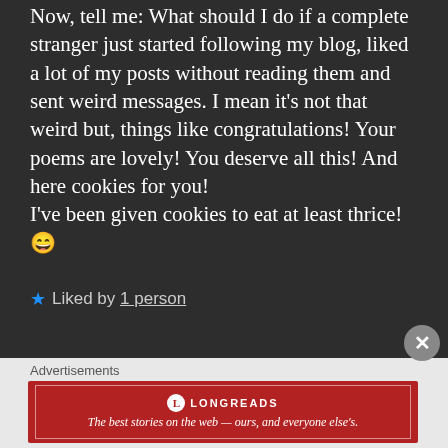Now, tell me: What should I do if a complete stranger just started following my blog, liked a lot of my posts without reading them and sent weird messages. I mean it's not that weird but, things like congratulations! Your poems are lovely! You deserve all this! And here cookies for you!
I've been given cookies to eat at least thrice! 😄
★ Liked by 1 person
Advertisements
[Figure (other): Longreads advertisement banner: red background with Longreads logo and tagline 'The best stories on the web — ours, and everyone else's.']